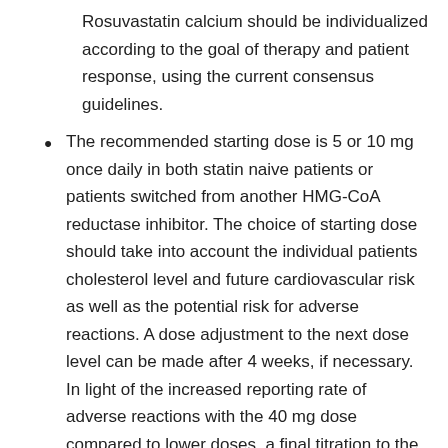Rosuvastatin calcium should be individualized according to the goal of therapy and patient response, using the current consensus guidelines.
The recommended starting dose is 5 or 10 mg once daily in both statin naive patients or patients switched from another HMG-CoA reductase inhibitor. The choice of starting dose should take into account the individual patients cholesterol level and future cardiovascular risk as well as the potential risk for adverse reactions. A dose adjustment to the next dose level can be made after 4 weeks, if necessary. In light of the increased reporting rate of adverse reactions with the 40 mg dose compared to lower doses, a final titration to the